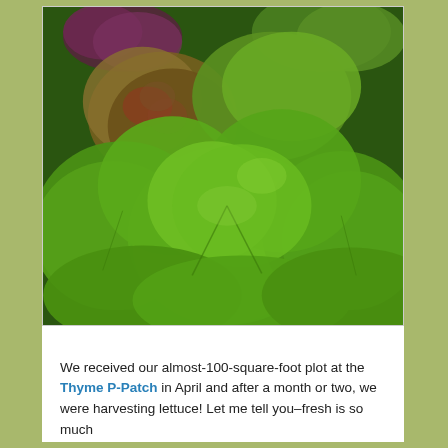[Figure (photo): Close-up photo of fresh green lettuce heads growing in a garden, with vibrant bright green leaves and some red/purple lettuce visible in the background.]
We received our almost-100-square-foot plot at the Thyme P-Patch in April and after a month or two, we were harvesting lettuce! Let me tell you–fresh is so much